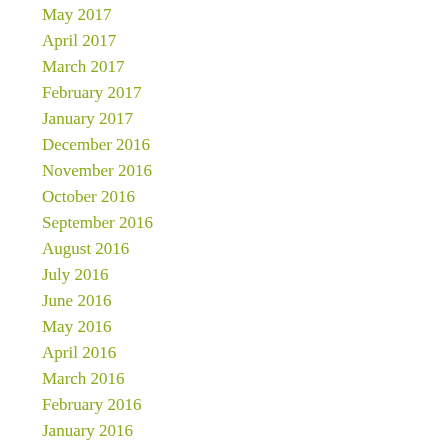May 2017
April 2017
March 2017
February 2017
January 2017
December 2016
November 2016
October 2016
September 2016
August 2016
July 2016
June 2016
May 2016
April 2016
March 2016
February 2016
January 2016
CATEGORIES
Concert